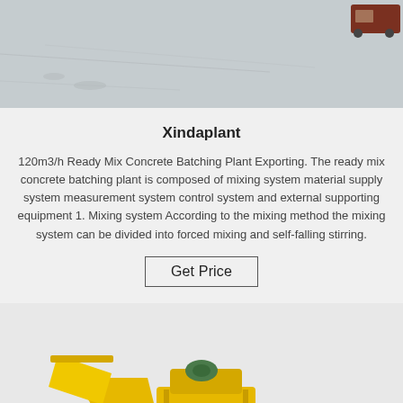[Figure (photo): Top portion of a concrete batching plant site with light grey ground surface and a red truck visible at the top right corner]
Xindaplant
120m3/h Ready Mix Concrete Batching Plant Exporting. The ready mix concrete batching plant is composed of mixing system material supply system measurement system control system and external supporting equipment 1. Mixing system According to the mixing method the mixing system can be divided into forced mixing and self-falling stirring.
Get Price
[Figure (photo): Yellow concrete batching machine / mixer equipment photographed on a white background, showing hopper, chute, and chassis components]